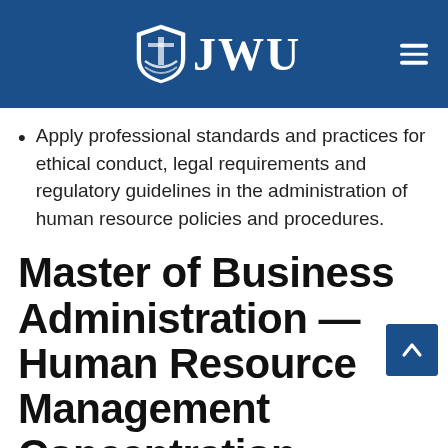[Figure (logo): JWU (Johnson & Wales University) logo with shield emblem in white on blue header bar, with hamburger menu icon on the right]
Apply professional standards and practices for ethical conduct, legal requirements and regulatory guidelines in the administration of human resource policies and procedures.
Master of Business Administration — Human Resource Management Concentration